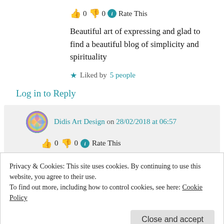👍 0 👎 0 ℹ Rate This
Beautiful art of expressing and glad to find a beautiful blog of simplicity and spirituality
★ Liked by 5 people
Log in to Reply
Didis Art Design on 28/02/2018 at 06:57
👍 0 👎 0 ℹ Rate This
Privacy & Cookies: This site uses cookies. By continuing to use this website, you agree to their use.
To find out more, including how to control cookies, see here: Cookie Policy
Close and accept
Log in to Reply